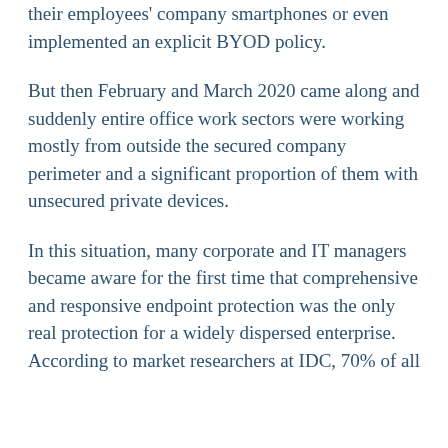their employees' company smartphones or even implemented an explicit BYOD policy.
But then February and March 2020 came along and suddenly entire office work sectors were working mostly from outside the secured company perimeter and a significant proportion of them with unsecured private devices.
In this situation, many corporate and IT managers became aware for the first time that comprehensive and responsive endpoint protection was the only real protection for a widely dispersed enterprise. According to market researchers at IDC, 70% of all